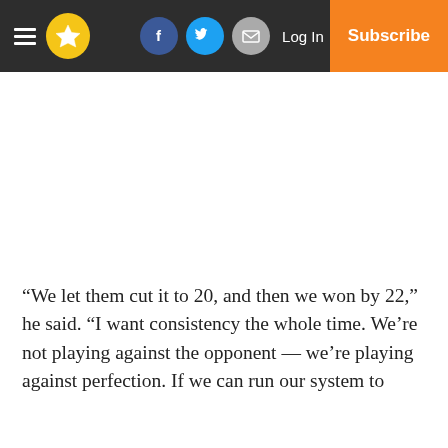Navigation bar with hamburger menu, star logo, Facebook, Twitter, Email icons, Log In link, and Subscribe button
“We let them cut it to 20, and then we won by 22,” he said. “I want consistency the whole time. We’re not playing against the opponent — we’re playing against perfection. If we can run our system to